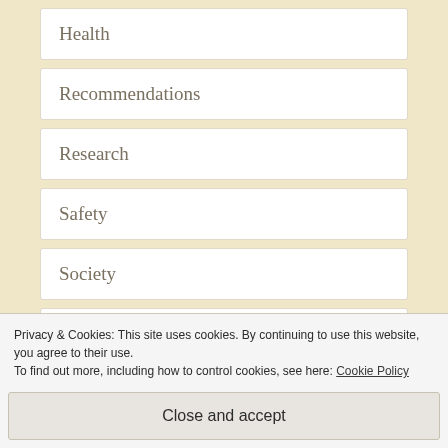Health
Recommendations
Research
Safety
Society
Stars
Street lights
Privacy & Cookies: This site uses cookies. By continuing to use this website, you agree to their use.
To find out more, including how to control cookies, see here: Cookie Policy
Close and accept